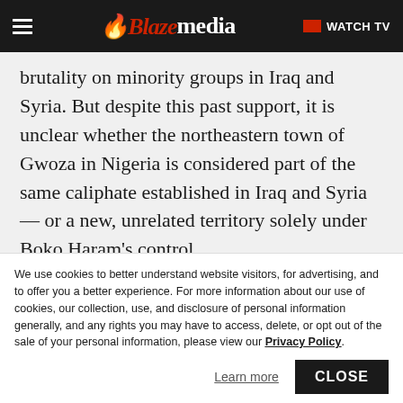Blaze media — WATCH TV
brutality on minority groups in Iraq and Syria. But despite this past support, it is unclear whether the northeastern town of Gwoza in Nigeria is considered part of the same caliphate established in Iraq and Syria — or a new, unrelated territory solely under Boko Haram's control.
We use cookies to better understand website visitors, for advertising, and to offer you a better experience. For more information about our use of cookies, our collection, use, and disclosure of personal information generally, and any rights you may have to access, delete, or opt out of the sale of your personal information, please view our Privacy Policy.
Learn more
CLOSE